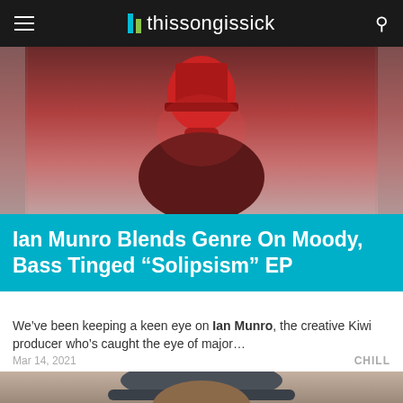thissongissick
[Figure (photo): Person wearing a red turtleneck and red hat, photographed from behind/above with moody red lighting]
Ian Munro Blends Genre On Moody, Bass Tinged “Solipsism” EP
We’ve been keeping a keen eye on Ian Munro, the creative Kiwi producer who’s caught the eye of major...
Mar 14, 2021
CHILL
[Figure (photo): Young man wearing a grey bucket hat, looking directly at the camera, photographed against a neutral background]